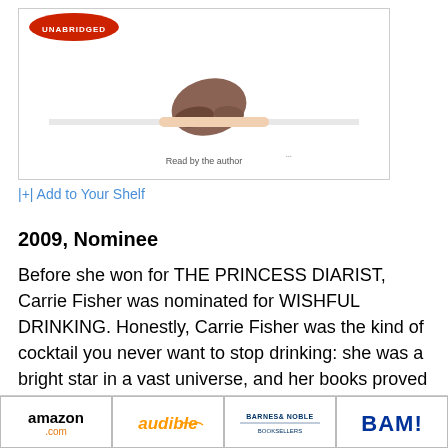[Figure (illustration): Book cover image for 'Wishful Drinking' by Carrie Fisher showing a person with their head down on a surface, with the Audible/publisher logo at top]
|+| Add to Your Shelf
2009, Nominee
Before she won for THE PRINCESS DIARIST, Carrie Fisher was nominated for WISHFUL DRINKING. Honestly, Carrie Fisher was the kind of cocktail you never want to stop drinking: she was a bright star in a vast universe, and her books proved how astonishing her life was. Her narration of this book is the delightful olive in your Carrie Fisher martini, and will make you miss her all over again.
[Figure (logo): amazon.com logo]
[Figure (logo): audible logo]
[Figure (logo): Barnes & Noble logo]
[Figure (logo): BAM! Books-A-Million logo]